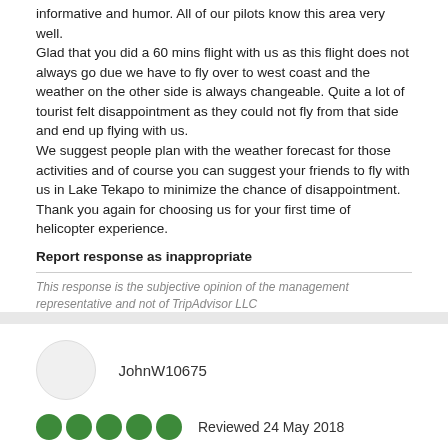informative and humor. All of our pilots know this area very well.
Glad that you did a 60 mins flight with us as this flight does not always go due we have to fly over to west coast and the weather on the other side is always changeable. Quite a lot of tourist felt disappointment as they could not fly from that side and end up flying with us.
We suggest people plan with the weather forecast for those activities and of course you can suggest your friends to fly with us in Lake Tekapo to minimize the chance of disappointment.
Thank you again for choosing us for your first time of helicopter experience.
Report response as inappropriate
This response is the subjective opinion of the management representative and not of TripAdvisor LLC
JohnW10675
Reviewed 24 May 2018